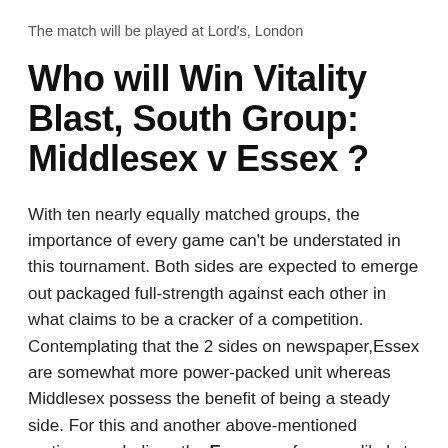The match will be played at Lord's, London
Who will Win Vitality Blast, South Group: Middlesex v Essex ?
With ten nearly equally matched groups, the importance of every game can't be understated in this tournament. Both sides are expected to emerge out packaged full-strength against each other in what claims to be a cracker of a competition. Contemplating that the 2 sides on newspaper,Essex are somewhat more power-packed unit whereas Middlesex possess the benefit of being a steady side. For this and another above-mentioned motives, we believe the Essex are far more likely to emerge victorious in what will be among the most crucial experiences for either side.